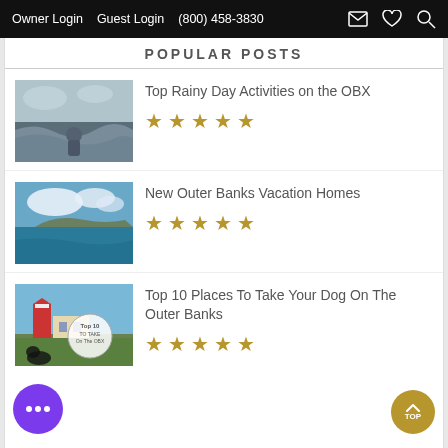Owner Login  Guest Login  (800) 458-3830
POPULAR POSTS
Top Rainy Day Activities on the OBX
[Figure (photo): Person standing at stormy ocean shore with waves]
New Outer Banks Vacation Homes
[Figure (photo): Aerial/water-level view of Outer Banks ocean and coastline]
Top 10 Places To Take Your Dog On The Outer Banks
[Figure (photo): Lighthouse and building with circular logo overlay reading Top 10 To Take On The OBX]